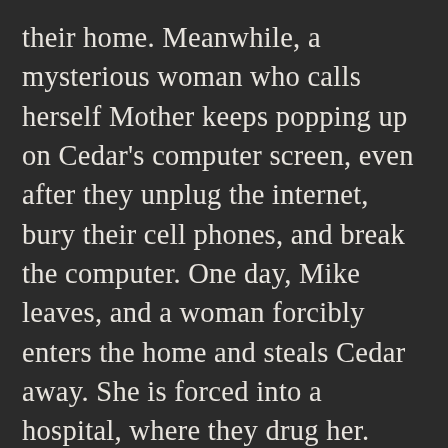their home. Meanwhile, a mysterious woman who calls herself Mother keeps popping up on Cedar's computer screen, even after they unplug the internet, bury their cell phones, and break the computer. One day, Mike leaves, and a woman forcibly enters the home and steals Cedar away. She is forced into a hospital, where they drug her. When her roommate Agnes tells her to stop taking her “vitamins,” she comes to and realizes how terrible her condition is. She watches Agnes try to break out and fail, and then she is whisked away to an operating room to have her child, and no one will tell Cedar what happened. She gets a new Asian roommate, who never speaks and spends her time unraveling blankets to create yarn and then a